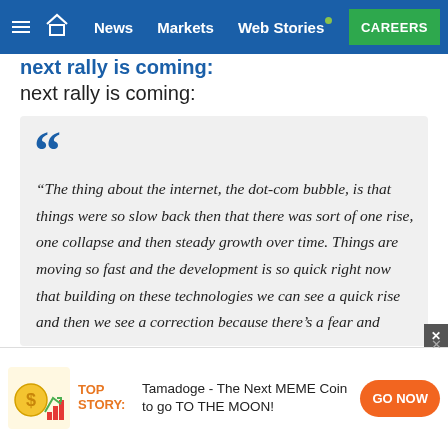News | Markets | Web Stories | CAREERS
next rally is coming:
“The thing about the internet, the dot-com bubble, is that things were so slow back then that there was sort of one rise, one collapse and then steady growth over time. Things are moving so fast and the development is so quick right now that building on these technologies we can see a quick rise and then we see a correction because there’s a fear and
TOP STORY: Tamadoge - The Next MEME Coin to go TO THE MOON!